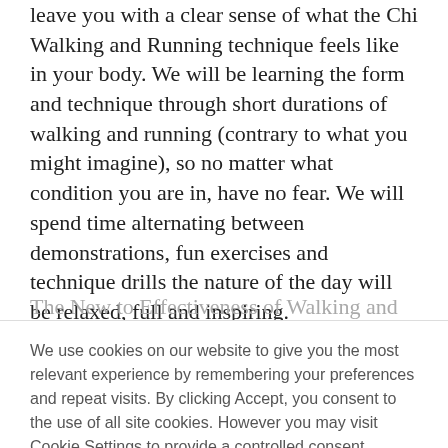leave you with a clear sense of what the Chi Walking and Running technique feels like in your body. We will be learning the form and technique through short durations of walking and running (contrary to what you might imagine), so no matter what condition you are in, have no fear. We will spend time alternating between demonstrations, fun exercises and technique drills the nature of the day will be relaxed, full and inspiring.
The New to Effectiveness of Walking and...
We use cookies on our website to give you the most relevant experience by remembering your preferences and repeat visits. By clicking Accept, you consent to the use of all site cookies. However you may visit Cookie Settings to provide a controlled consent.